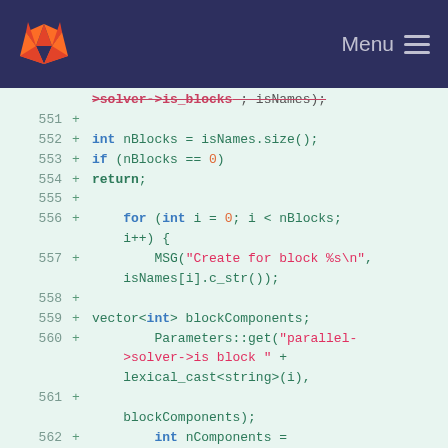GitLab Menu
[Figure (screenshot): GitLab code diff viewer showing lines 551-562 of a C++ source file with additions marked by + signs]
>solver->is_blocks ; isNames);
551 +
552 +     int nBlocks = isNames.size();
553 +     if (nBlocks == 0)
554 +         return;
555 +
556 +     for (int i = 0; i < nBlocks; i++) {
557 +         MSG("Create for block %s\n", isNames[i].c_str());
558 +
559 +         vector<int> blockComponents;
560 +         Parameters::get("parallel->solver->is block " + lexical_cast<string>(i),
561 + blockComponents);
562 +         int nComponents = static_cast<int>(blockComponents.size());
563 +